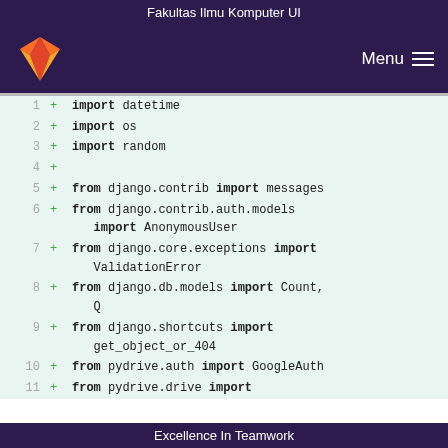Fakultas Ilmu Komputer UI
[Figure (screenshot): GitLab-style navigation bar with fox/flame logo on the left and Menu with hamburger icon on the right, dark purple background]
Code diff view showing Python import statements lines 1-13 with green additions highlighted
Excellence In Teamwork